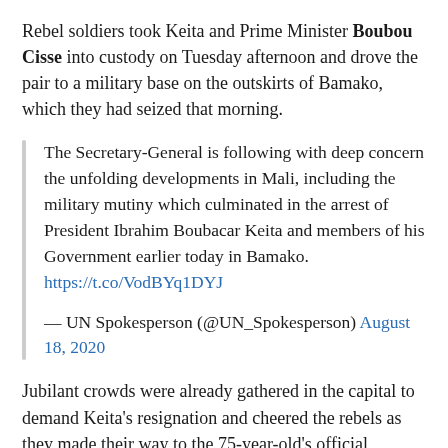Rebel soldiers took Keita and Prime Minister Boubou Cisse into custody on Tuesday afternoon and drove the pair to a military base on the outskirts of Bamako, which they had seized that morning.
The Secretary-General is following with deep concern the unfolding developments in Mali, including the military mutiny which culminated in the arrest of President Ibrahim Boubacar Keita and members of his Government earlier today in Bamako. https://t.co/VodBYq1DYJ

— UN Spokesperson (@UN_Spokesperson) August 18, 2020
Jubilant crowds were already gathered in the capital to demand Keita's resignation and cheered the rebels as they made their way to the 75-year-old's official residence.